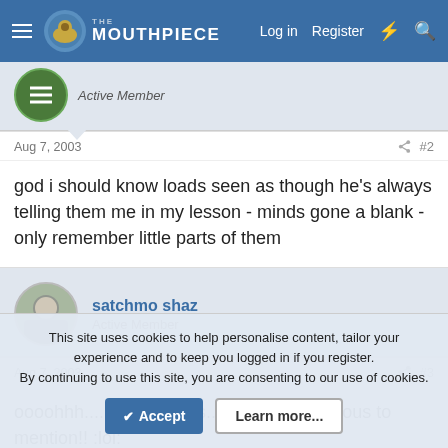The Mouthpiece | Log in | Register
Active Member
Aug 7, 2003  #2
god i should know loads seen as though he's always telling them me in my lesson - minds gone a blank - only remember little parts of them
satchmo shaz
Active Member
Aug 7, 2003  #3
oooohhh........... all of us...........too numerous to mention!! :lol:
This site uses cookies to help personalise content, tailor your experience and to keep you logged in if you register.
By continuing to use this site, you are consenting to our use of cookies.